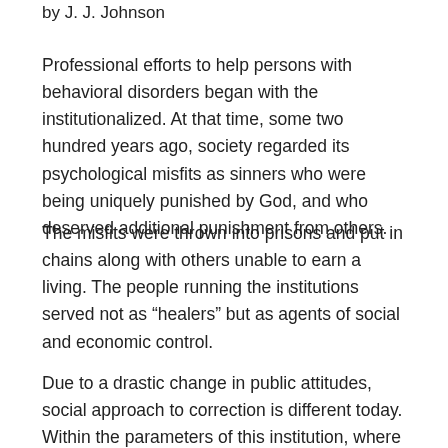by J. J. Johnson
Professional efforts to help persons with behavioral disorders began with the institutionalized. At that time, some two hundred years ago, society regarded its psychological misfits as sinners who were being uniquely punished by God, and who deserved additional punishment from others.
The misfits were thrown into prisons and put in chains along with others unable to earn a living. The people running the institutions served not as “healers” but as agents of social and economic control.
Due to a drastic change in public attitudes, social approach to correction is different today.
Within the parameters of this institution, where the